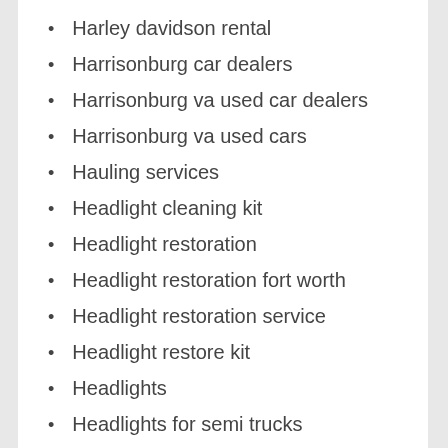Harley davidson rental
Harrisonburg car dealers
Harrisonburg va used car dealers
Harrisonburg va used cars
Hauling services
Headlight cleaning kit
Headlight restoration
Headlight restoration fort worth
Headlight restoration service
Headlight restore kit
Headlights
Headlights for semi trucks